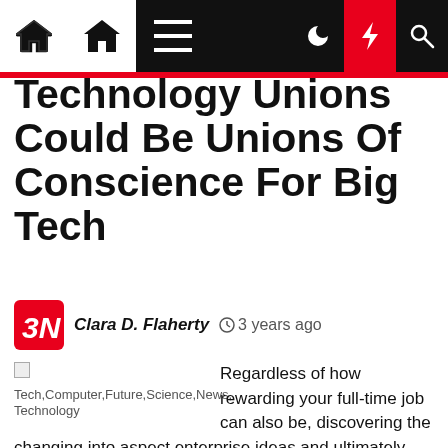Navigation bar with home, menu, dark mode, lightning, and search icons
Technology Unions Could Be Unions Of Conscience For Big Tech
Clara D. Flaherty  3 years ago
[Figure (photo): Small broken image placeholder with alt text: Tech,Computer,Future,Science,News,Technology]
Regardless of how rewarding your full-time job can also be, discovering the changing into aspect enterprise ideas and ultimately turning into fully self-employed isÂ relatively extra meaningfulÂ than good pay and stable advantages. At New Tech faculties, students and academics alike have exceptional possession of college